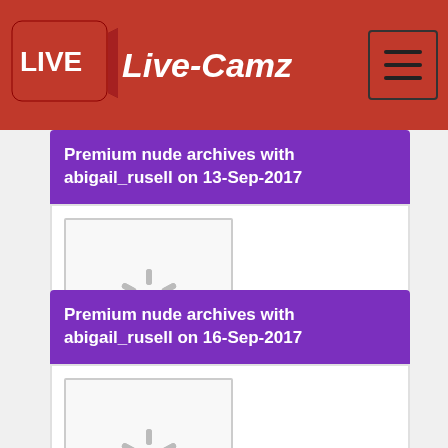Live-Camz
Premium nude archives with abigail_rusell on 13-Sep-2017
[Figure (photo): Loading spinner thumbnail placeholder for abigail_rusell 13-Sep-2017]
Premium nude archives with abigail_rusell on 16-Sep-2017
[Figure (photo): Loading spinner thumbnail placeholder for abigail_rusell 16-Sep-2017]